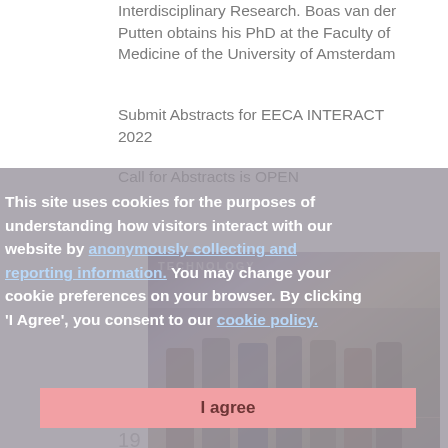Interdisciplinary Research. Boas van der Putten obtains his PhD at the Faculty of Medicine of the University of Amsterdam
Submit Abstracts for EECA INTERACT 2022
Call for Abstracts is OPEN
This site uses cookies for the purposes of understanding how visitors interact with our website by anonymously collecting and reporting information. You may change your cookie preferences on your browser. By clicking 'I Agree', you consent to our cookie policy.
[Figure (photo): Group of people standing on a stage in front of a 'TECHNOLOGY' banner, appears to be an award or conference ceremony]
I agree
19 NOV COMBINING EXPERTISE TO